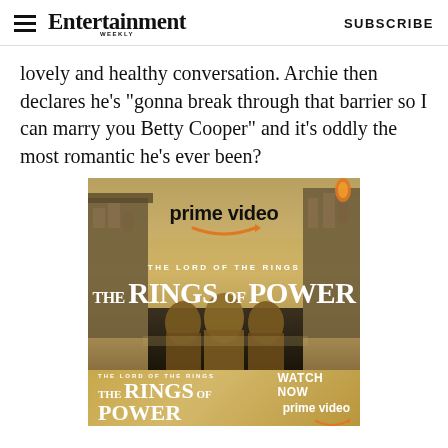Entertainment Weekly — SUBSCRIBE
lovely and healthy conversation. Archie then declares he's "gonna break through that barrier so I can marry you Betty Cooper" and it's oddly the most romantic he's ever been?
[Figure (photo): Amazon Prime Video advertisement for 'The Lord of the Rings: The Rings of Power' showing fantasy city backdrop with armored figures in foreground. Text reads 'prime video', 'THE LORD OF THE RINGS', 'THE RINGS OF POWER'.]
[Figure (photo): Bottom banner ad for 'The Lord of the Rings: The Rings of Power' on gold background with 'WATCH NOW' and Prime Video logo with Amazon smile.]